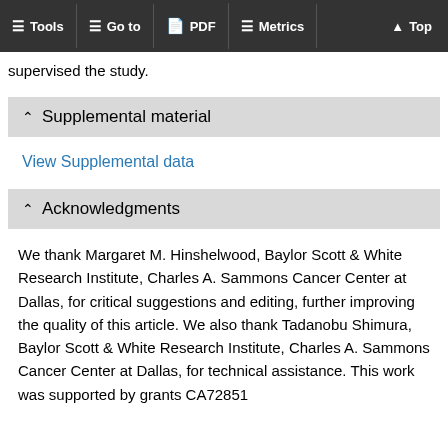Tools  Go to  PDF  Metrics  Top
supervised the study.
Supplemental material
View Supplemental data
Acknowledgments
We thank Margaret M. Hinshelwood, Baylor Scott & White Research Institute, Charles A. Sammons Cancer Center at Dallas, for critical suggestions and editing, further improving the quality of this article. We also thank Tadanobu Shimura, Baylor Scott & White Research Institute, Charles A. Sammons Cancer Center at Dallas, for technical assistance. This work was supported by grants CA72851